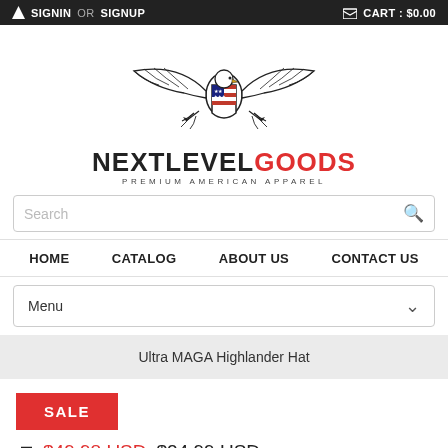SIGNIN OR SIGNUP | CART : $0.00
[Figure (logo): Eagle with American flag shield logo for NextLevelGoods]
NEXTLEVELGOODS — PREMIUM AMERICAN APPAREL
Search
HOME   CATALOG   ABOUT US   CONTACT US
Menu
Ultra MAGA Highlander Hat
SALE
$49.98 USD   $24.99 USD